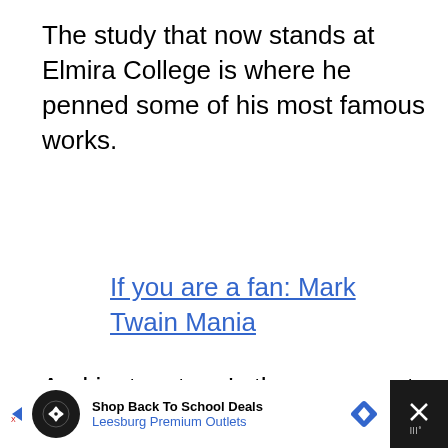The study that now stands at Elmira College is where he penned some of his most famous works.
If you are a fan: Mark Twain Mania
And just a stone’s throw away at Woodlawn Cemetery, he was laid to rest with his extended family.
[Figure (other): Gray placeholder box for an image or embedded content]
[Figure (other): Advertisement banner: Shop Back To School Deals - Leesburg Premium Outlets, with navigation arrows and close button]